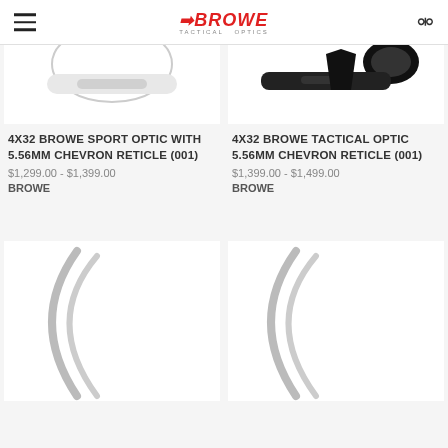BROWE TACTICAL OPTICS
[Figure (photo): Partial view of 4X32 Browe Sport Optic product image (cropped from top)]
4X32 BROWE SPORT OPTIC WITH 5.56MM CHEVRON RETICLE (001)
$1,299.00 - $1,399.00
BROWE
[Figure (photo): Partial view of 4X32 Browe Tactical Optic product image (cropped from top), showing scope end]
4X32 BROWE TACTICAL OPTIC 5.56MM CHEVRON RETICLE (001)
$1,399.00 - $1,499.00
BROWE
[Figure (photo): Partial view of scope product (bottom-left card), showing curved scope body arc]
[Figure (photo): Partial view of scope product (bottom-right card), showing curved scope body arc]